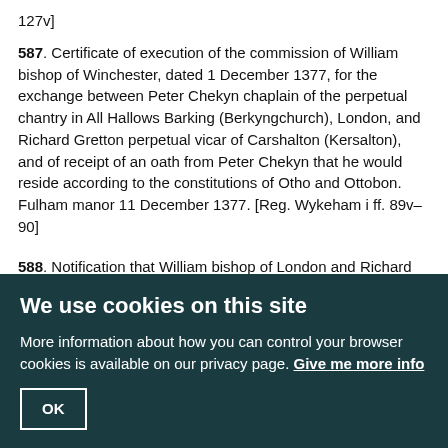127v]
587. Certificate of execution of the commission of William bishop of Winchester, dated 1 December 1377, for the exchange between Peter Chekyn chaplain of the perpetual chantry in All Hallows Barking (Berkyngchurch), London, and Richard Gretton perpetual vicar of Carshalton (Kersalton), and of receipt of an oath from Peter Chekyn that he would reside according to the constitutions of Otho and Ottobon. Fulham manor 11 December 1377. [Reg. Wykeham i ff. 89v–90]
588. Notification that William bishop of London and Richard Warmyngton clerk have appointed Thomas Payne and Thomas Veal as their attorneys to receive on their behalf seisin of two acres of land with appurtenances in Great Staughton (Stokton Magna), Huntingdonshire, together with the advowson of Staughton which Thomas de Welle of Norfolk by a charter gave to Richard II and themselves. London 16 December 1377. [W.A.M. no. 5092]
589. Quitclaim by William Curteney bishop of London to Richard II his heirs and assigns of all his rights in two acres of land in the parish of Datchworth in the field called 'Parva Pynkeford', in Hertfordshire, along with the advowson of North Mimms church with all rights and appurtenances, which he and the king
We use cookies on this site
More information about how you can control your browser cookies is available on our privacy page. Give me more info
OK